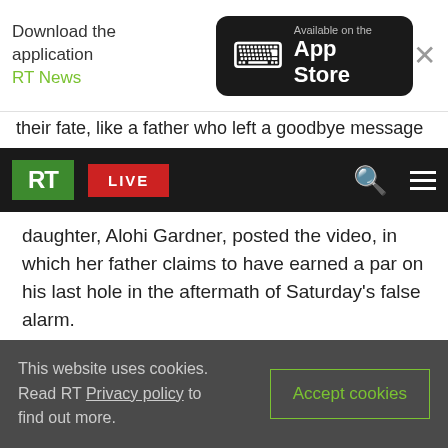[Figure (screenshot): RT News app download banner with App Store button and close X]
their fate, like a father who left a goodbye message
[Figure (screenshot): RT website navigation bar with logo, LIVE button, search and menu icons]
daughter, Alohi Gardner, posted the video, in which her father claims to have earned a par on his last hole in the aftermath of Saturday's false alarm.
My father will live and die golfing.
#missile#hawaiipic.twitter.com/BT4cPvwt1
— Alohi Gardner (@GardnerAlohi) January 13, 2018
You can share this story on social media:
This website uses cookies. Read RT Privacy policy to find out more.